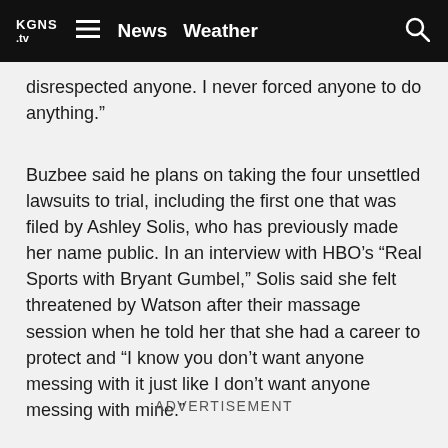KGNS.tv | News Weather
disrespected anyone. I never forced anyone to do anything.”
Buzbee said he plans on taking the four unsettled lawsuits to trial, including the first one that was filed by Ashley Solis, who has previously made her name public. In an interview with HBO’s “Real Sports with Bryant Gumbel,” Solis said she felt threatened by Watson after their massage session when he told her that she had a career to protect and “I know you don’t want anyone messing with it just like I don’t want anyone messing with mine.”
ADVERTISEMENT